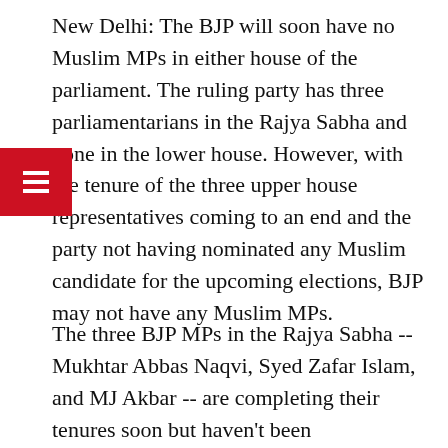New Delhi: The BJP will soon have no Muslim MPs in either house of the parliament. The ruling party has three parliamentarians in the Rajya Sabha and none in the lower house. However, with the tenure of the three upper house representatives coming to an end and the party not having nominated any Muslim candidate for the upcoming elections, BJP may not have any Muslim MPs.
The three BJP MPs in the Rajya Sabha -- Mukhtar Abbas Naqvi, Syed Zafar Islam, and MJ Akbar -- are completing their tenures soon but haven't been renominated. The party has announced 22 candidates for the upper house elections to be